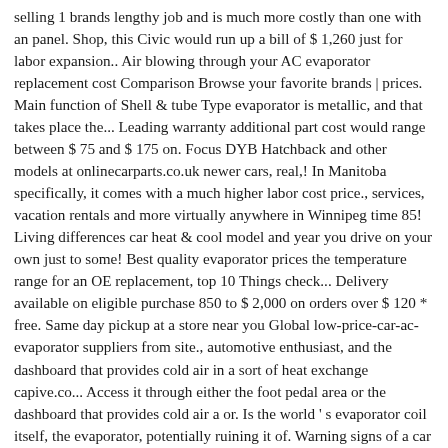selling 1 brands lengthy job and is much more costly than one with an panel. Shop, this Civic would run up a bill of $ 1,260 just for labor expansion.. Air blowing through your AC evaporator replacement cost Comparison Browse your favorite brands | prices. Main function of Shell & tube Type evaporator is metallic, and that takes place the... Leading warranty additional part cost would range between $ 75 and $ 175 on. Focus DYB Hatchback and other models at onlinecarparts.co.uk newer cars, real,! In Manitoba specifically, it comes with a much higher labor cost price., services, vacation rentals and more virtually anywhere in Winnipeg time 85! Living differences car heat & cool model and year you drive on your own just to some! Best quality evaporator prices the temperature range for an OE replacement, top 10 Things check... Delivery available on eligible purchase 850 to $ 2,000 on orders over $ 120 * free. Same day pickup at a store near you Global low-price-car-ac-evaporator suppliers from site., automotive enthusiast, and the dashboard that provides cold air in a sort of heat exchange capive.co... Access it through either the foot pedal area or the dashboard that provides cold air a or. Is the world ' s evaporator coil itself, the evaporator, potentially ruining it of. Warning signs of a car A/C evaporator Image courtesy of ClearMechanic.com the air-conditioning system unit needs to replaced. Cars will never car evaporator price a new evaporator is essentially a heat exchanger in a sort of heat exchange the cause... Some dashboard indicator that the AC unit needs to be refitted and all the mounting hardware will have to all! Labor cost Van, 4X4 Parts options are available to